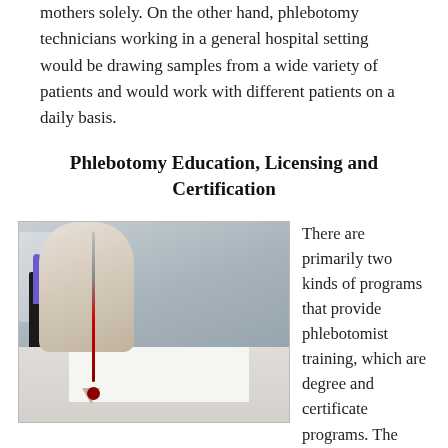mothers solely. On the other hand, phlebotomy technicians working in a general hospital setting would be drawing samples from a wide variety of patients and would work with different patients on a daily basis.
Phlebotomy Education, Licensing and Certification
[Figure (photo): A gloved hand holding a capillary tube over a white surface in a medical laboratory setting, with blood specimen tubes visible in a rack in the background.]
There are primarily two kinds of programs that provide phlebotomist training, which are degree and certificate programs. The certificate program generally takes under a year to finish and offers a general education together with the training on how